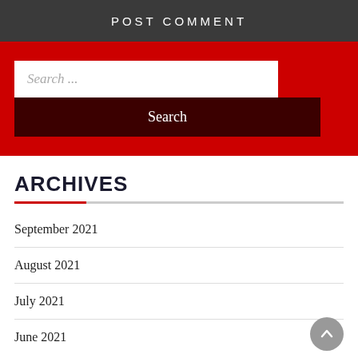POST COMMENT
[Figure (other): Red search widget with a text input field labeled 'Search ...' and a dark red Search button]
ARCHIVES
September 2021
August 2021
July 2021
June 2021